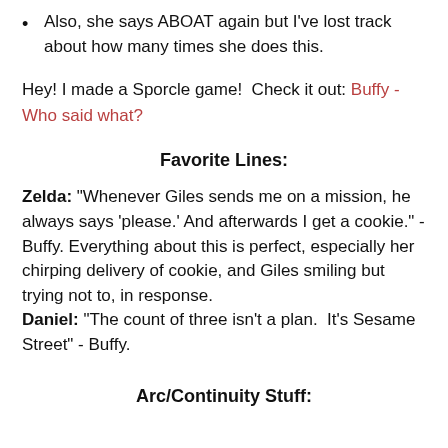Also, she says ABOAT again but I've lost track about how many times she does this.
Hey! I made a Sporcle game!  Check it out: Buffy - Who said what?
Favorite Lines:
Zelda: "Whenever Giles sends me on a mission, he always says 'please.' And afterwards I get a cookie." - Buffy. Everything about this is perfect, especially her chirping delivery of cookie, and Giles smiling but trying not to, in response.
Daniel: "The count of three isn't a plan.  It's Sesame Street" - Buffy.
Arc/Continuity Stuff: